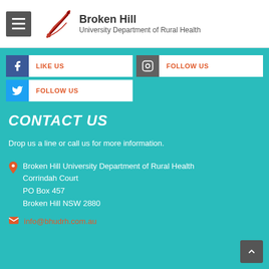Broken Hill University Department of Rural Health
[Figure (other): Social media buttons: Facebook LIKE US, Instagram FOLLOW US, Twitter FOLLOW US]
CONTACT US
Drop us a line or call us for more information.
Broken Hill University Department of Rural Health
Corrindah Court
PO Box 457
Broken Hill NSW 2880
info@bhudrh.com.au